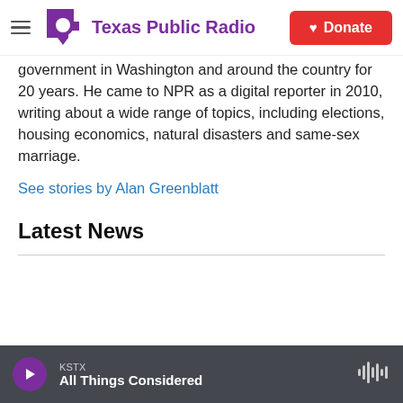Texas Public Radio — Donate
government in Washington and around the country for 20 years. He came to NPR as a digital reporter in 2010, writing about a wide range of topics, including elections, housing economics, natural disasters and same-sex marriage.
See stories by Alan Greenblatt
Latest News
KSTX All Things Considered